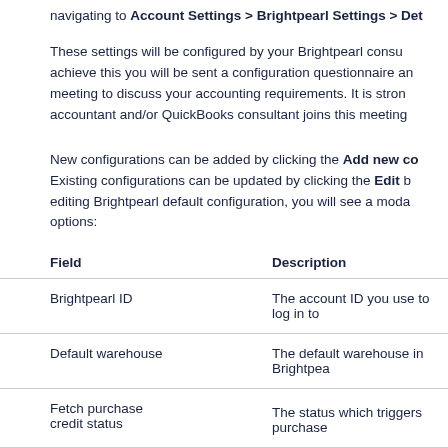navigating to Account Settings > Brightpearl Settings > Det...
These settings will be configured by your Brightpearl consu... achieve this you will be sent a configuration questionnaire an... meeting to discuss your accounting requirements. It is stron... accountant and/or QuickBooks consultant joins this meeting...
New configurations can be added by clicking the Add new co... Existing configurations can be updated by clicking the Edit b... editing Brightpearl default configuration, you will see a mod... options:
| Field | Description |
| --- | --- |
| Brightpearl ID | The account ID you use to log in to |
| Default warehouse | The default warehouse in Brightpea... |
| Fetch purchase credit status | The status which triggers purchase |